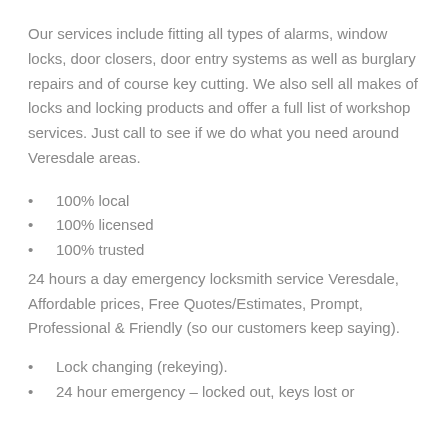Our services include fitting all types of alarms, window locks, door closers, door entry systems as well as burglary repairs and of course key cutting. We also sell all makes of locks and locking products and offer a full list of workshop services. Just call to see if we do what you need around Veresdale areas.
100% local
100% licensed
100% trusted
24 hours a day emergency locksmith service Veresdale, Affordable prices, Free Quotes/Estimates, Prompt, Professional & Friendly (so our customers keep saying).
Lock changing (rekeying).
24 hour emergency – locked out, keys lost or